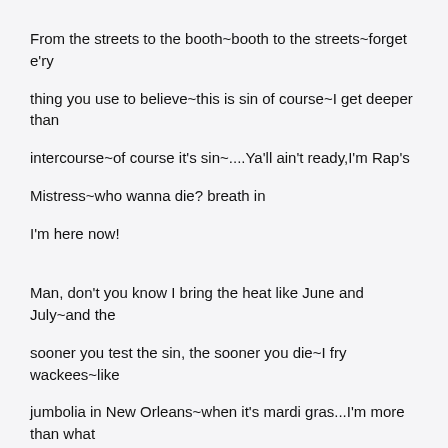From the streets to the booth~booth to the streets~forget e'ry
thing you use to believe~this is sin of course~I get deeper than
intercourse~of course it's sin~....Ya'll ain't ready,I'm Rap's
Mistress~who wanna die? breath in
I'm here now!
Man, don't you know I bring the heat like June and July~and the
sooner you test the sin, the sooner you die~I fry wackees~like
jumbolia in New Orleans~when it's mardi gras...I'm more than what
you bargained for~